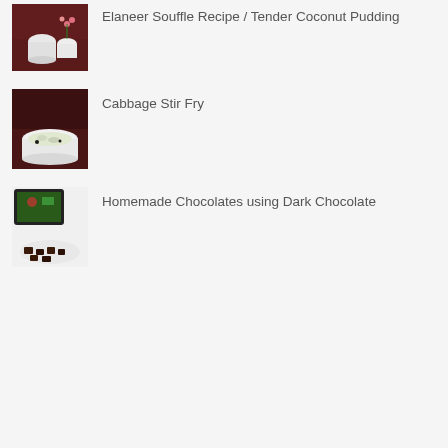[Figure (photo): Photo of Elaneer Souffle / Tender Coconut Pudding - white cups/bowls on dark table with pink flowers]
Elaneer Souffle Recipe / Tender Coconut Pudding
[Figure (photo): Photo of Cabbage Stir Fry - white bowl with cooked cabbage dish on dark table]
Cabbage Stir Fry
[Figure (photo): Photo of Homemade Chocolates using Dark Chocolate - tablet device and plate with dark chocolate pieces]
Homemade Chocolates using Dark Chocolate